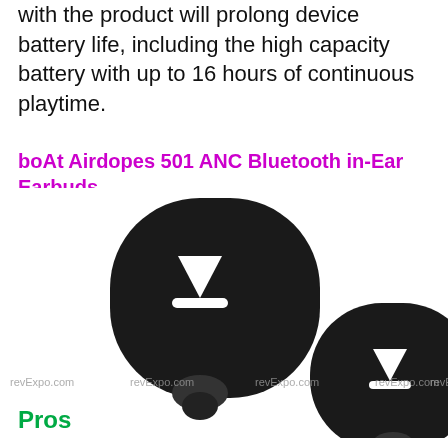with the product will prolong device battery life, including the high capacity battery with up to 16 hours of continuous playtime.
boAt Airdopes 501 ANC Bluetooth in-Ear Earbuds
[Figure (photo): Two black boAt Airdopes 501 ANC Bluetooth in-ear earbuds shown side by side with watermarks reading revExpo.com repeated across the image]
Pros